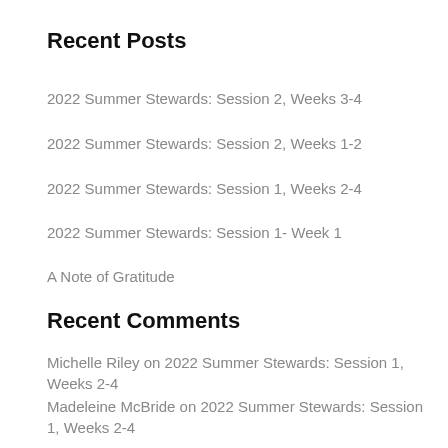Recent Posts
2022 Summer Stewards: Session 2, Weeks 3-4
2022 Summer Stewards: Session 2, Weeks 1-2
2022 Summer Stewards: Session 1, Weeks 2-4
2022 Summer Stewards: Session 1- Week 1
A Note of Gratitude
Recent Comments
Michelle Riley on 2022 Summer Stewards: Session 1, Weeks 2-4
Madeleine McBride on 2022 Summer Stewards: Session 1, Weeks 2-4
Mary Ann Delach on 2022 Summer Stewards: Session 1, Weeks 2-4
Susan Bergen on 2022 Summer Stewards: Session 1- Week 1